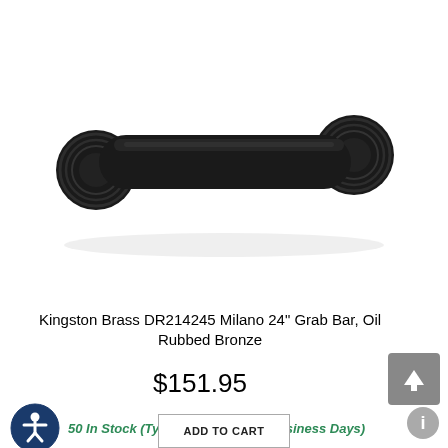[Figure (photo): A black oil rubbed bronze grab bar with circular flanges/rosettes at each end, photographed on a white background.]
Kingston Brass DR214245 Milano 24" Grab Bar, Oil Rubbed Bronze
$151.95
50 In Stock (Typically Ships in 2 Business Days)
ADD TO CART